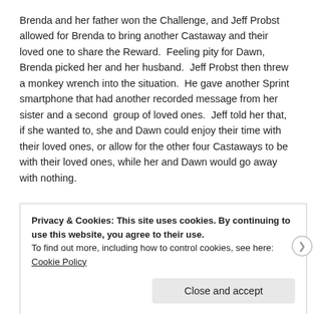Brenda and her father won the Challenge, and Jeff Probst allowed for Brenda to bring another Castaway and their loved one to share the Reward.  Feeling pity for Dawn, Brenda picked her and her husband.  Jeff Probst then threw a monkey wrench into the situation.  He gave another Sprint smartphone that had another recorded message from her sister and a second  group of loved ones.  Jeff told her that, if she wanted to, she and Dawn could enjoy their time with their loved ones, or allow for the other four Castaways to be with their loved ones, while her and Dawn would go away with nothing.
Privacy & Cookies: This site uses cookies. By continuing to use this website, you agree to their use.
To find out more, including how to control cookies, see here: Cookie Policy
Close and accept